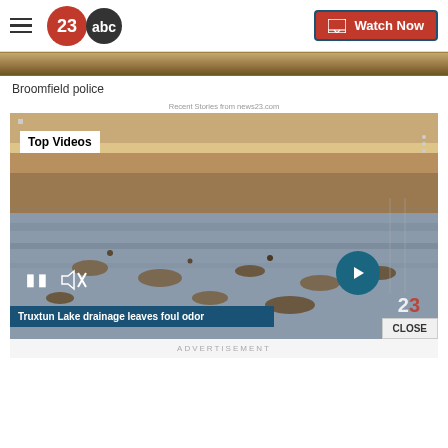[Figure (screenshot): 23 ABC news website header with hamburger menu, 23abc logo, and Watch Now button]
[Figure (photo): Aerial photo of dried lake bed with brown terrain — top image strip]
Broomfield police
Recent Stories from news23.com
[Figure (screenshot): Video player showing Top Videos with Truxtun Lake drainage leaves foul odor playing, pause button, mute icon, next arrow, close button, and 23abc watermark]
ADVERTISEMENT